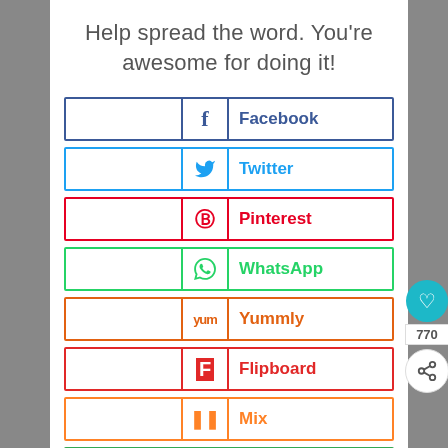Help spread the word. You're awesome for doing it!
Facebook
Twitter
Pinterest
WhatsApp
Yummly
Flipboard
Mix
Email
Print